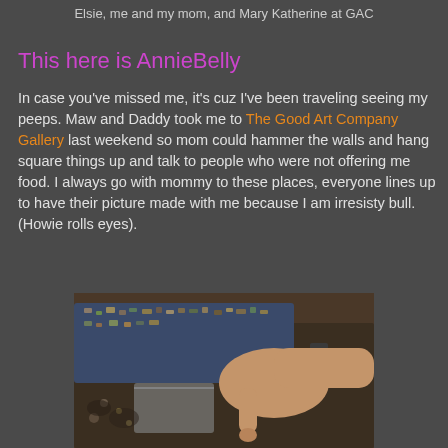Elsie, me and my mom, and Mary Katherine at GAC
This here is AnnieBelly
In case you've missed me, it's cuz I've been traveling seeing my peeps. Maw and Daddy took me to The Good Art Company Gallery last weekend so mom could hammer the walls and hang square things up and talk to people who were not offering me food. I always go with mommy to these places, everyone lines up to have their picture made with me because I am irresisty bull. (Howie rolls eyes).
[Figure (photo): A hand pointing at items in a display case or tray, with various small objects visible. Person wearing a watch.]